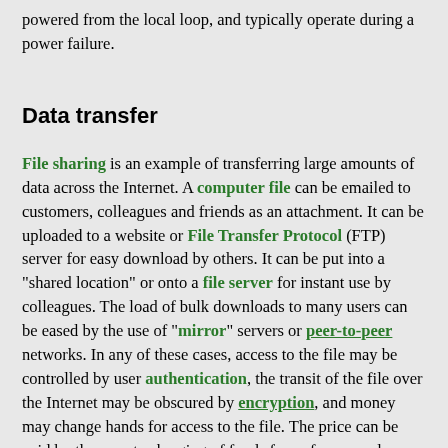powered from the local loop, and typically operate during a power failure.
Data transfer
File sharing is an example of transferring large amounts of data across the Internet. A computer file can be emailed to customers, colleagues and friends as an attachment. It can be uploaded to a website or File Transfer Protocol (FTP) server for easy download by others. It can be put into a "shared location" or onto a file server for instant use by colleagues. The load of bulk downloads to many users can be eased by the use of "mirror" servers or peer-to-peer networks. In any of these cases, access to the file may be controlled by user authentication, the transit of the file over the Internet may be obscured by encryption, and money may change hands for access to the file. The price can be paid by the remote charging of funds from, for example, a credit card whose details are also passed—usually fully encrypted—across the Internet. The origin and authenticity of the file received may be checked by